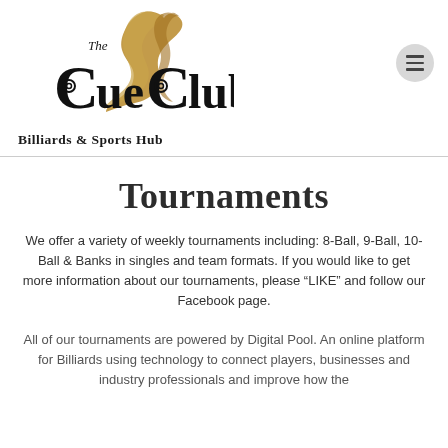[Figure (logo): The Cue Club Billiards & Sports Hub logo with a horse head and decorative text]
Tournaments
We offer a variety of weekly tournaments including: 8-Ball, 9-Ball, 10-Ball & Banks in singles and team formats. If you would like to get more information about our tournaments, please “LIKE” and follow our Facebook page.
All of our tournaments are powered by Digital Pool. An online platform for Billiards using technology to connect players, businesses and industry professionals and improve how the